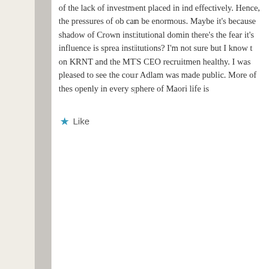of the lack of investment placed in ind effectively. Hence, the pressures of ob can be enormous. Maybe it's because shadow of Crown institutional domin there's the fear it's influence is sprea institutions? I'm not sure but I know t on KRNT and the MTS CEO recruitmen healthy. I was pleased to see the cour Adlam was made public. More of thes openly in every sphere of Maori life is
Like
kiritapu | April 25, 2014 at 11:14 pm
Great post e hoa.
I agree with your sentiments in full – Māoridom d